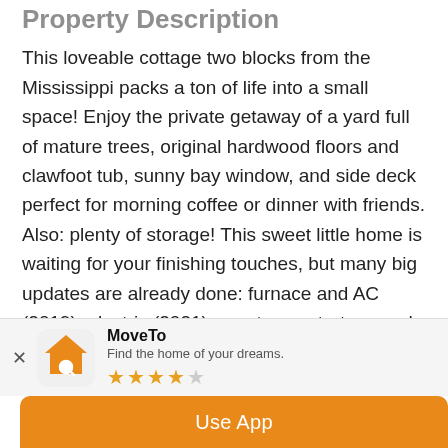Property Description
This loveable cottage two blocks from the Mississippi packs a ton of life into a small space! Enjoy the private getaway of a yard full of mature trees, original hardwood floors and clawfoot tub, sunny bay window, and side deck perfect for morning coffee or dinner with friends. Also: plenty of storage! This sweet little home is waiting for your finishing touches, but many big updates are already done: furnace and AC (2019), electric (2021), quartz countertops and kitchen sink (2022), and siding and soffits (2022). Don't wait to
[Figure (logo): MoveTo app icon: orange house with magnifying glass]
MoveTo
Find the home of your dreams.
★★★★☆
Use App